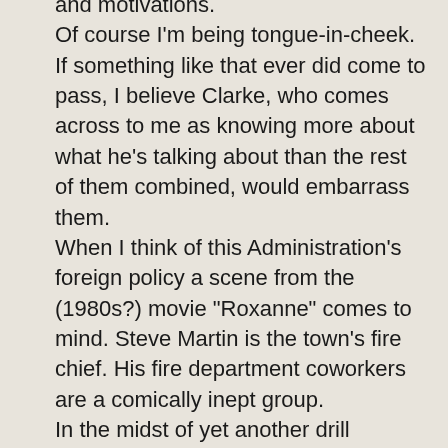and motivations. Of course I'm being tongue-in-cheek. If something like that ever did come to pass, I believe Clarke, who comes across to me as knowing more about what he's talking about than the rest of them combined, would embarrass them. When I think of this Administration's foreign policy a scene from the (1980s?) movie "Roxanne" comes to mind. Steve Martin is the town's fire chief. His fire department coworkers are a comically inept group. In the midst of yet another drill revealing exciting new ways to screw up, Martin utters something like the following: "I have a dream. I would like to have the people who live in our